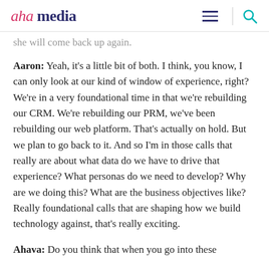aha media
she will come back up again.
Aaron: Yeah, it's a little bit of both. I think, you know, I can only look at our kind of window of experience, right? We're in a very foundational time in that we're rebuilding our CRM. We're rebuilding our PRM, we've been rebuilding our web platform. That's actually on hold. But we plan to go back to it. And so I'm in those calls that really are about what data do we have to drive that experience? What personas do we need to develop? Why are we doing this? What are the business objectives like? Really foundational calls that are shaping how we build technology against, that's really exciting.
Ahava: Do you think that when you go into these